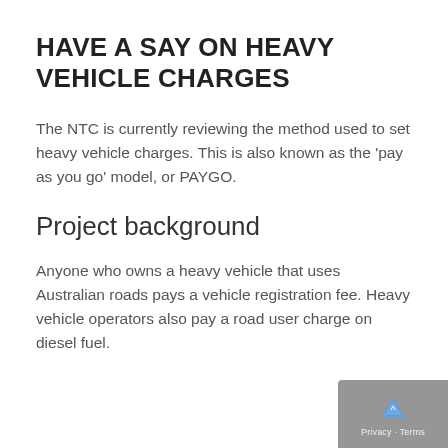HAVE A SAY ON HEAVY VEHICLE CHARGES
The NTC is currently reviewing the method used to set heavy vehicle charges. This is also known as the 'pay as you go' model, or PAYGO.
Project background
Anyone who owns a heavy vehicle that uses Australian roads pays a vehicle registration fee. Heavy vehicle operators also pay a road user charge on diesel fuel.